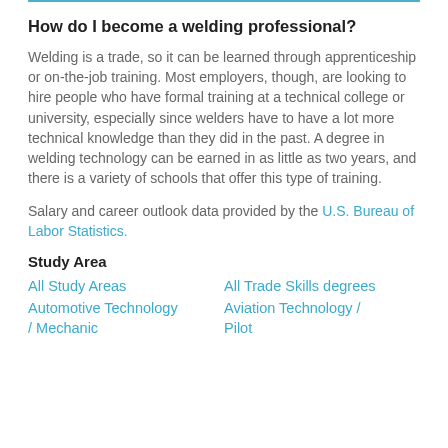How do I become a welding professional?
Welding is a trade, so it can be learned through apprenticeship or on-the-job training. Most employers, though, are looking to hire people who have formal training at a technical college or university, especially since welders have to have a lot more technical knowledge than they did in the past. A degree in welding technology can be earned in as little as two years, and there is a variety of schools that offer this type of training.
Salary and career outlook data provided by the U.S. Bureau of Labor Statistics.
Study Area
All Study Areas
Automotive Technology / Mechanic
All Trade Skills degrees
Aviation Technology / Pilot